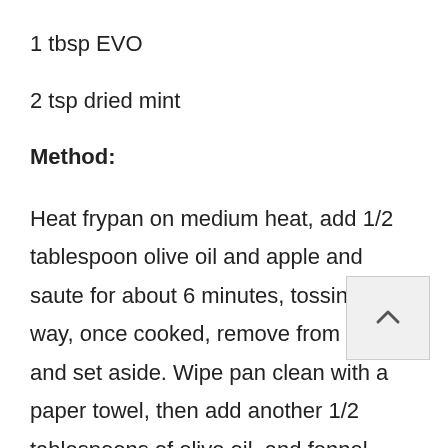1 tbsp EVO
2 tsp dried mint
Method:
Heat frypan on medium heat, add 1/2 tablespoon olive oil and apple and saute for about 6 minutes, tossing half way, once cooked, remove from pan and set aside. Wipe pan clean with a paper towel, then add another 1/2 tablespoons of olive oil, and fennel sticks. Cook for about 6 minutes, tossing frequently. Remove from pan and set aside. Finish with the haloumi. Drizzle pan with a touch of oil again and cook haloumi